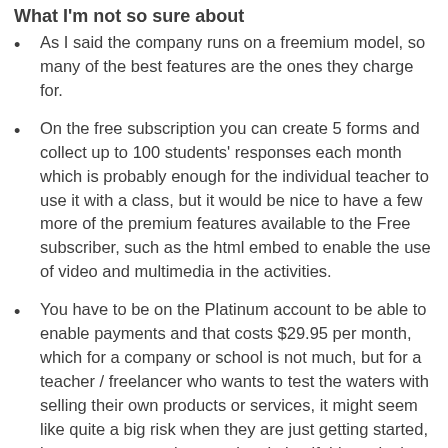What I'm not so sure about
As I said the company runs on a freemium model, so many of the best features are the ones they charge for.
On the free subscription you can create 5 forms and collect up to 100 students' responses each month which is probably enough for the individual teacher to use it with a class, but it would be nice to have a few more of the premium features available to the Free subscriber, such as the html embed to enable the use of video and multimedia in the activities.
You have to be on the Platinum account to be able to enable payments and that costs $29.95 per month, which for a company or school is not much, but for a teacher / freelancer who wants to test the waters with selling their own products or services, it might seem like quite a big risk when they are just getting started, but you can cancel your subscription if things don't go well and 123ContactForm does offer a 30day money back guarantee. It's also worth mentioning that if you